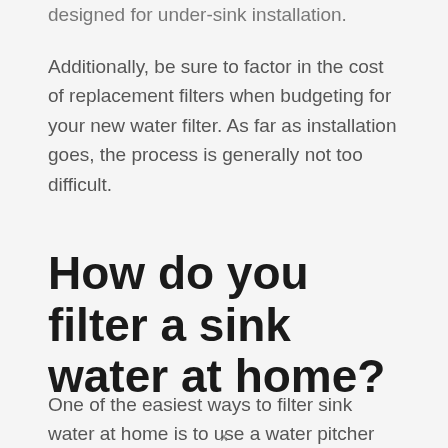designed for under-sink installation.
Additionally, be sure to factor in the cost of replacement filters when budgeting for your new water filter. As far as installation goes, the process is generally not too difficult.
How do you filter a sink water at home?
One of the easiest ways to filter sink water at home is to use a water pitcher with a
x